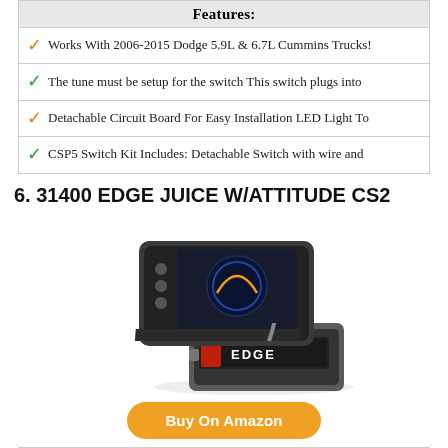Features:
Works With 2006-2015 Dodge 5.9L & 6.7L Cummins Trucks!
The tune must be setup for the switch This switch plugs into
Detachable Circuit Board For Easy Installation LED Light To
CSP5 Switch Kit Includes: Detachable Switch with wire and
6. 31400 EDGE JUICE W/ATTITUDE CS2
[Figure (photo): Photo of Edge Juice with Attitude CS2 device — a handheld monitor/display unit and a black module with Edge logo]
Buy On Amazon
Features: